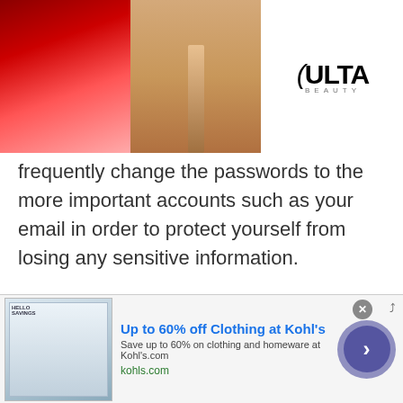[Figure (screenshot): Ulta Beauty advertisement banner at top of page with makeup images (lips, brush, eye), Ulta Beauty logo, and 'SHOP NOW' call to action]
frequently change the passwords to the more important accounts such as your email in order to protect yourself from losing any sensitive information.
By changing your account’s password regularly, the chance of your account being accessed is reduced. Just to be sure, set a reminder for 90 days on your phone, or calendar and change your password frequently. This will remind you to change your password every day.
If you are setting a reminder on your mobile phone, it is a
[Figure (screenshot): Kohl's advertisement: 'Up to 60% off Clothing at Kohl’s' with savings image thumbnail, description 'Save up to 60% on clothing and homeware at Kohl’s.com', URL 'kohls.com', and a circular arrow navigation button]